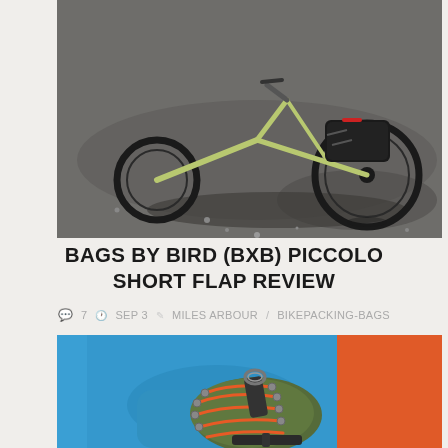[Figure (photo): A mountain bike lying on asphalt/gravel ground with a black bikepacking bag attached to the rear, shot from ground level.]
BAGS BY BIRD (BXB) PICCOLO SHORT FLAP REVIEW
7   SEP 3   MILES ARBOUR  / BIKEPACKING-BAGS
[Figure (photo): A person wearing a blue fleece jacket holding a small olive/green bikepacking handlebar bag with orange bungee cords, against a blue and orange background.]